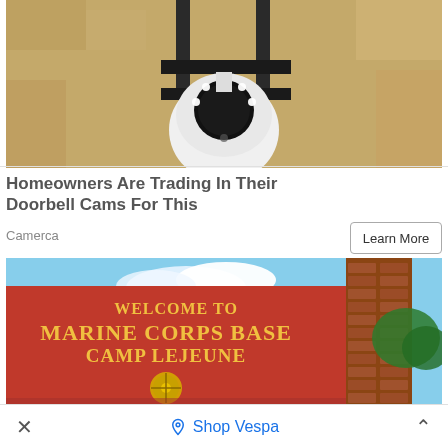[Figure (photo): Security camera mounted on a wall bracket, close-up view showing LED ring light on white camera body, mounted on a textured stone/stucco wall with metal bracket.]
Homeowners Are Trading In Their Doorbell Cams For This
Camerca
Learn More
[Figure (photo): Welcome sign for Marine Corps Base Camp Lejeune — large red sign with gold text reading WELCOME TO MARINE CORPS BASE CAMP LEJEUNE with the Marine Corps emblem below, brick pillar on right, blue sky with clouds in background.]
× Shop Vespa ^